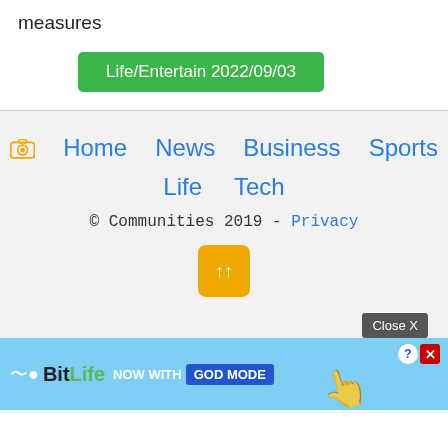measures
Life/Entertain 2022/09/03
Home  News  Business  Sports  Life  Tech  © Communities 2019 - Privacy
[Figure (screenshot): BitLife advertisement banner with 'NOW WITH GOD MODE' text]